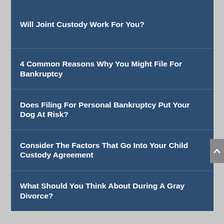Will Joint Custody Work For You?
4 Common Reasons Why You Might File For Bankruptcy
Does Filing For Personal Bankruptcy Put Your Dog At Risk?
Consider The Factors That Go Into Your Child Custody Agreement
What Should You Think About During A Gray Divorce?